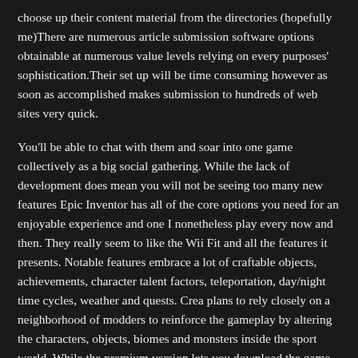choose up their content material from the directories (hopefully me)There are numerous article submission software options obtainable at numerous value levels relying on every purposes' sophistication.Their set up will be time consuming however as soon as accomplished makes submission to hundreds of web sites very quick.
You'll be able to chat with them and soar into one game collectively as a big social gathering. While the lack of development does mean you will not be seeing too many new features Epic Inventor has all of the core options you need for an enjoyable experience and one I nonetheless play every now and then. They really seem to like the Wii Fit and all the features it presents. Notable features embrace a lot of craftable objects, achievements, character talent factors, teleportation, day/night time cycles, weather and quests. Crea plans to rely closely on a neighborhood of modders to reinforce the gameplay by altering the characters, objects, biomes and monsters inside the sport world. While the premium version lets you download the game and achieve entry to multiplayer features, including a survival mode the place you try to survive in an unforgiving and randomly-generated recreation world. They didnt have any selection within the model they performed and lots of gamers didnt find out about the existence of the other version until they played on-line. To protect your self (and your mates) from the large number of threats, you'll must rely on the massive armament of weapons and protective innovations out there which slowly enhance as you progress further in the game or might be boosted through the actual cash transaction